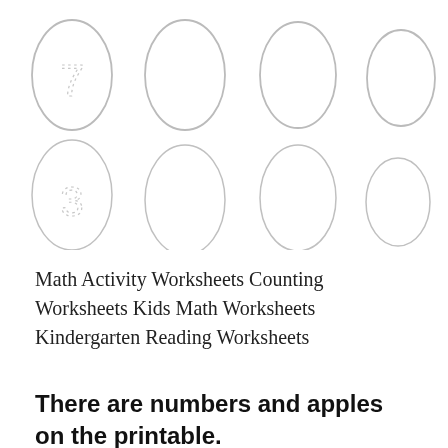[Figure (illustration): Two rows of egg shapes. Top row: 4 eggs, first egg contains a dotted/traced number 7 inside. Bottom row: 4 eggs, first egg contains a dotted/traced number 3 inside. All eggs are outline only with light gray strokes.]
Math Activity Worksheets Counting Worksheets Kids Math Worksheets Kindergarten Reading Worksheets
There are numbers and apples on the printable.